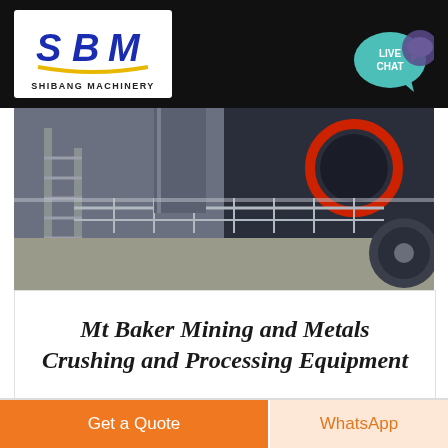[Figure (logo): SBM Shibang Machinery logo — blue stylized SBM letters with yellow arc, white background]
[Figure (photo): Industrial mining crushing equipment with metal staircase/grating in foreground, large crusher machinery with red circular element in background]
Mt Baker Mining and Metals Crushing and Processing Equipment
Get a Quote
WhatsApp